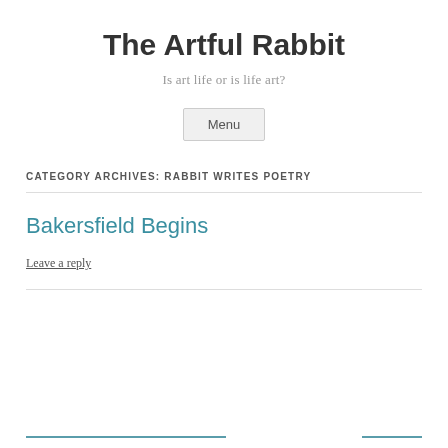The Artful Rabbit
Is art life or is life art?
Menu
CATEGORY ARCHIVES: RABBIT WRITES POETRY
Bakersfield Begins
Leave a reply